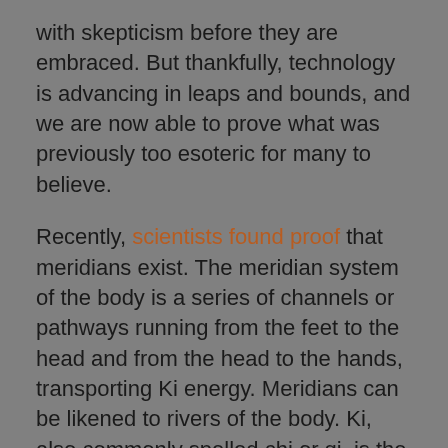with skepticism before they are embraced. But thankfully, technology is advancing in leaps and bounds, and we are now able to prove what was previously too esoteric for many to believe.
Recently, scientists found proof that meridians exist. The meridian system of the body is a series of channels or pathways running from the feet to the head and from the head to the hands, transporting Ki energy. Meridians can be likened to rivers of the body. Ki, also commonly spelled chi or qi, is the word for the vital energy that is the true essence of every creation in the cosmos.
There are 12 major meridians within our physical body that, along with the 7 chakras, make up our subtle body. The subtle body is energetic and while it cannot be physically seen, it is vibrant and active